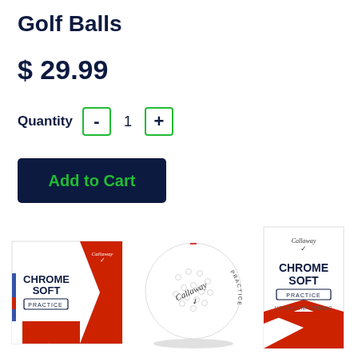Golf Balls
$ 29.99
Quantity - 1 +
Add to Cart
[Figure (photo): Callaway Chrome Soft Practice golf ball box (white and red), a single white Callaway golf ball with 'PRACTICE' text, and a slim Callaway Chrome Soft Practice box with USGA Conforming label]
Callaway Chrome Soft Practice Golf Balls product images